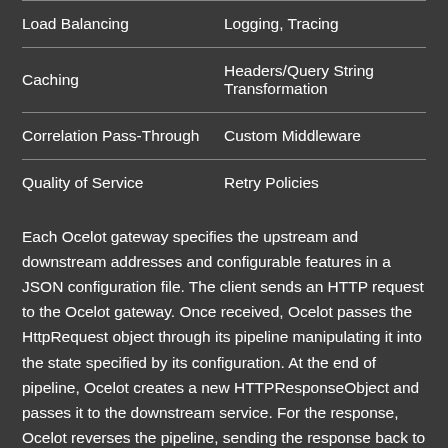| Load Balancing | Logging, Tracing |
| Caching | Headers/Query String Transformation |
| Correlation Pass-Through | Custom Middleware |
| Quality of Service | Retry Policies |
Each Ocelot gateway specifies the upstream and downstream addresses and configurable features in a JSON configuration file. The client sends an HTTP request to the Ocelot gateway. Once received, Ocelot passes the HttpRequest object through its pipeline manipulating it into the state specified by its configuration. At the end of pipeline, Ocelot creates a new HTTPResponseObject and passes it to the downstream service. For the response, Ocelot reverses the pipeline, sending the response back to client.